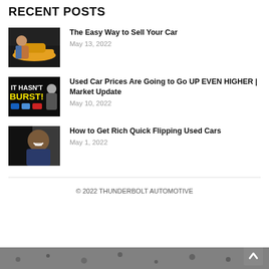RECENT POSTS
[Figure (photo): Thumbnail of a person standing next to a car, bright image]
The Easy Way to Sell Your Car
May 13, 2022
[Figure (photo): Dark thumbnail with text IT HASN'T BURST! and car brand logos, a man with glasses]
Used Car Prices Are Going to Go UP EVEN HIGHER | Market Update
May 10, 2022
[Figure (photo): Thumbnail of a person laughing, dark background]
How to Get Rich Quick Flipping Used Cars
May 1, 2022
© 2022 THUNDERBOLT AUTOMOTIVE